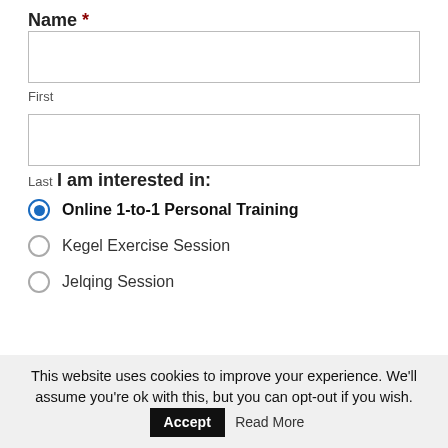Name *
First
Last
I am interested in:
Online 1-to-1 Personal Training (selected)
Kegel Exercise Session
Jelqing Session
This website uses cookies to improve your experience. We'll assume you're ok with this, but you can opt-out if you wish.
Accept
Read More